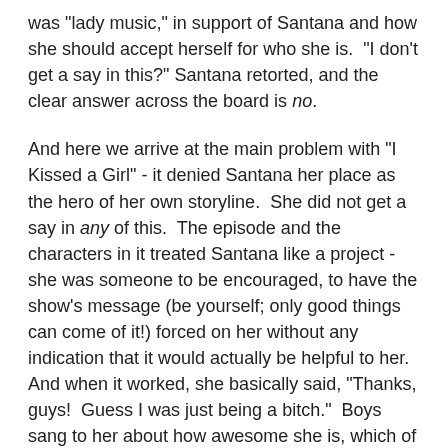was "lady music," in support of Santana and how she should accept herself for who she is.  "I don't get a say in this?" Santana retorted, and the clear answer across the board is no.
And here we arrive at the main problem with "I Kissed a Girl" - it denied Santana her place as the hero of her own storyline.  She did not get a say in any of this.  The episode and the characters in it treated Santana like a project - she was someone to be encouraged, to have the show's message (be yourself; only good things can come of it!) forced on her without any indication that it would actually be helpful to her.  And when it worked, she basically said, "Thanks, guys!  Guess I was just being a bitch."  Boys sang to her about how awesome she is, which of course speaks to the rich history of boys singing to girls on Glee to either a) win them over or b) make it all better.  This is just another awful instance of girls being objects to the male subject in this show.
I would be remiss if I didn't mention the episode's "girl power" effort - the ladies of the club coming together to